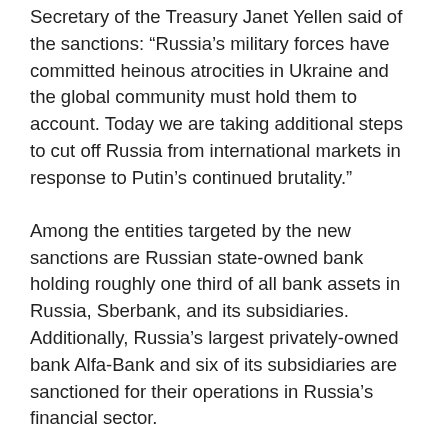Secretary of the Treasury Janet Yellen said of the sanctions: “Russia’s military forces have committed heinous atrocities in Ukraine and the global community must hold them to account. Today we are taking additional steps to cut off Russia from international markets in response to Putin’s continued brutality.”
Among the entities targeted by the new sanctions are Russian state-owned bank holding roughly one third of all bank assets in Russia, Sberbank, and its subsidiaries. Additionally, Russia’s largest privately-owned bank Alfa-Bank and six of its subsidiaries are sanctioned for their operations in Russia’s financial sector.
The new sanctions also target Russian individuals. The sanctions include Putin’s daughters, Katerina Vladimirovna Tikhonova and Maria Vladimirovna Vorontsova. The daughter and wife of Russian Foreign Minister Sergey Lavrov are also among individuals sanctioned. Several members of the Security Council of